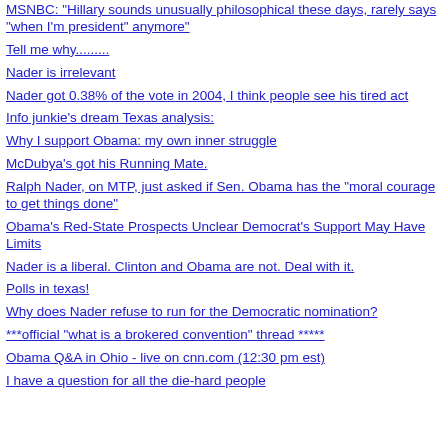MSNBC: "Hillary sounds unusually philosophical these days, rarely says "when I'm president" anymore"
Tell me why.........
Nader is irrelevant
Nader got 0.38% of the vote in 2004, I think people see his tired act
Info junkie's dream Texas analysis:
Why I support Obama: my own inner struggle
McDubya's got his Running Mate.
Ralph Nader, on MTP, just asked if Sen. Obama has the "moral courage to get things done"
Obama's Red-State Prospects Unclear Democrat's Support May Have Limits
Nader is a liberal. Clinton and Obama are not. Deal with it.
Polls in texas!
Why does Nader refuse to run for the Democratic nomination?
***official "what is a brokered convention" thread *****
Obama Q&A in Ohio - live on cnn.com (12:30 pm est)
I have a question for all the die-hard people